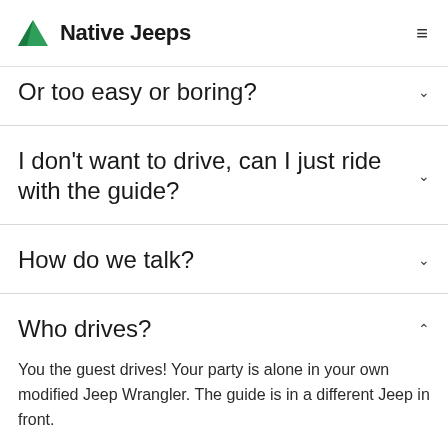Native Jeeps
Or too easy or boring?
I don't want to drive, can I just ride with the guide?
How do we talk?
Who drives?
You the guest drives! Your party is alone in your own modified Jeep Wrangler. The guide is in a different Jeep in front.